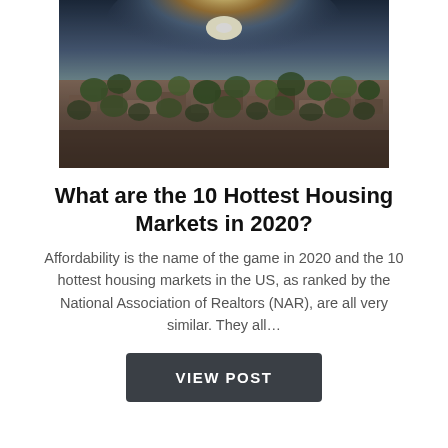[Figure (photo): Aerial view of a suburban neighborhood with trees and houses, sunlight bursting from the horizon against a dramatic sky.]
What are the 10 Hottest Housing Markets in 2020?
Affordability is the name of the game in 2020 and the 10 hottest housing markets in the US, as ranked by the National Association of Realtors (NAR), are all very similar. They all…
VIEW POST